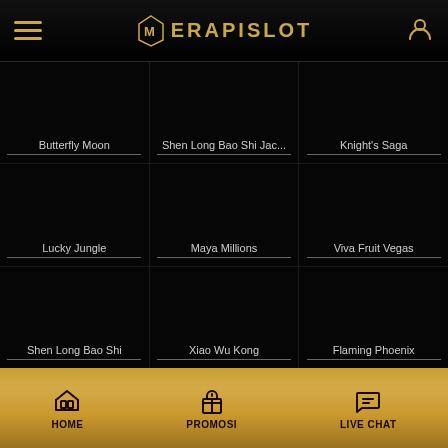MERAPISLOT
[Figure (screenshot): Mobile casino game lobby showing 9 game thumbnails in a 3x3 grid on black background]
Butterfly Moon
Shen Long Bao Shi Jac...
Knight's Saga
Lucky Jungle
Maya Millions
Viva Fruit Vegas
Shen Long Bao Shi
Xiao Wu Kong
Flaming Phoenix
HOME   PROMOSI   LIVE CHAT